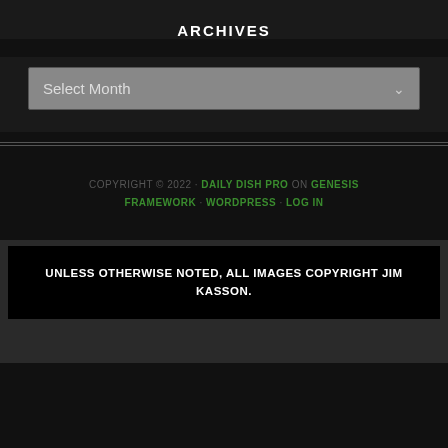ARCHIVES
Select Month
COPYRIGHT © 2022 · DAILY DISH PRO ON GENESIS FRAMEWORK · WORDPRESS · LOG IN
UNLESS OTHERWISE NOTED, ALL IMAGES COPYRIGHT JIM KASSON.